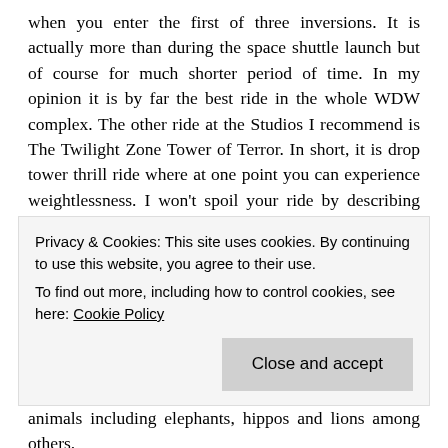when you enter the first of three inversions. It is actually more than during the space shuttle launch but of course for much shorter period of time. In my opinion it is by far the best ride in the whole WDW complex. The other ride at the Studios I recommend is The Twilight Zone Tower of Terror. In short, it is drop tower thrill ride where at one point you can experience weightlessness. I won't spoil your ride by describing the details but believe me, it is good.

Fourth of the WDW parks is Animal Kingdom. In short it is mix of an amusement park and a zoo. It is probably the best park to spend really hot day as it offers more greenery than the others. Overall it is probably my favourite part of WDW, even
Privacy & Cookies: This site uses cookies. By continuing to use this website, you agree to their use.
To find out more, including how to control cookies, see here: Cookie Policy
Close and accept
animals including elephants, hippos and lions among others.